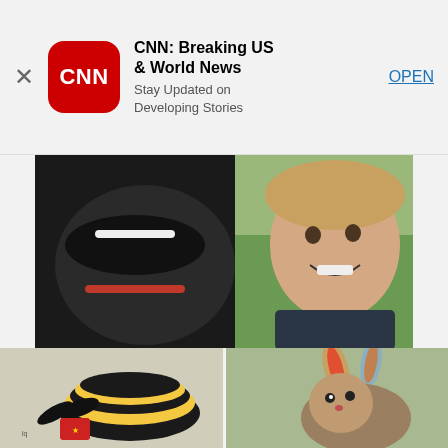[Figure (screenshot): CNN app advertisement banner with CNN red rounded square logo, title 'CNN: Breaking US & World News', subtitle 'Stay Updated on Developing Stories', and an OPEN button link. A close X is on the left.]
[Figure (photo): Photo of a black dog with its mouth open showing teeth pressed cheek-to-cheek with a smiling young blonde toddler girl against a green outdoor background.]
[Pics] Girl Gives Garbage Man Cupcake Every Week Until Dad Follows Him And Finds Out Why
Sponsored: HealthyGem
[Figure (photo): Two small photos side by side: left shows a Beanie Baby bee stuffed animal toy; right shows a colorful rabbit/bunny stuffed animal toy.]